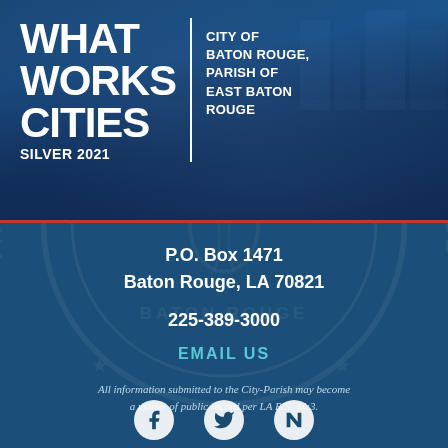[Figure (logo): What Works Cities Silver 2021 certification badge banner with City of Baton Rouge, Parish of East Baton Rouge text, overlaid on a crowd/city photo background]
P.O. Box 1471
Baton Rouge, LA 70821
225-389-3000
EMAIL US
All information submitted to the City-Parish may become a matter of public record per LA R.S. 44:3.
[Figure (other): Social media icons: Facebook, Twitter, Nextdoor]